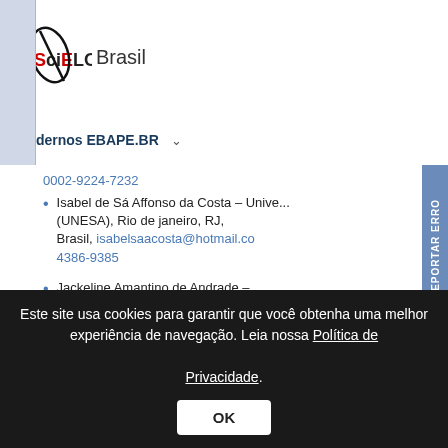[Figure (logo): SciELO Brasil logo with stylized oval and horizontal lines]
Cadernos EBAPE.BR ▾
Isabel de Sá Affonso da Costa – Universidade Estácio de Sá (UNESA), Rio de janeiro, RJ, Brasil, isabelsaacosta@hotmail.co... 4386-9385
Jackeline Amantino de Andrade – ... Pernambuco (UFPE), Recife, PE, Brasil, jackeline.andrade@terra.co... 0002-6451-4049
Este site usa cookies para garantir que você obtenha uma melhor experiência de navegação. Leia nossa Política de Privacidade.
OK